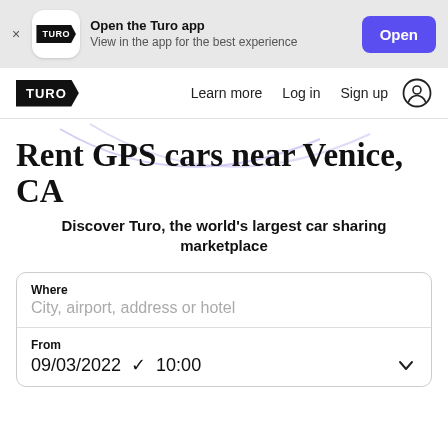[Figure (screenshot): App banner with Turo logo, text 'Open the Turo app / View in the app for the best experience', and a purple 'Open' button]
TURO   Learn more   Log in   Sign up
Rent GPS cars near Venice, CA
Discover Turo, the world's largest car sharing marketplace
Where
City, airport, address or hotel
From
09/03/2022  ✓ 10:00